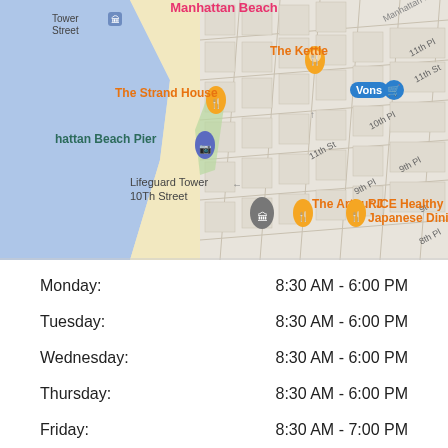[Figure (map): Google Maps screenshot showing Manhattan Beach area with labeled locations: Manhattan Beach (pink text at top), Tower Street, The Kettle (restaurant pin), Vons (store pin), The Strand House (restaurant pin), Manhattan Beach Pier (camera pin), Lifeguard Tower 10th Street, The Arthur J (restaurant pin), RICE Healthy Japanese Dining (restaurant pin). Street labels include 11th Pl, 11th St, 10th Pl, 9th Pl, 8th Pl. Map shows beach/ocean in blue on left, sandy area in yellow/tan, and city grid in gray.]
| Day | Hours |
| --- | --- |
| Monday: | 8:30 AM - 6:00 PM |
| Tuesday: | 8:30 AM - 6:00 PM |
| Wednesday: | 8:30 AM - 6:00 PM |
| Thursday: | 8:30 AM - 6:00 PM |
| Friday: | 8:30 AM - 7:00 PM |
| Saturday: | 8:30 AM - 7:00 PM |
| Sunday: | 8:30 AM - 6:00 PM |